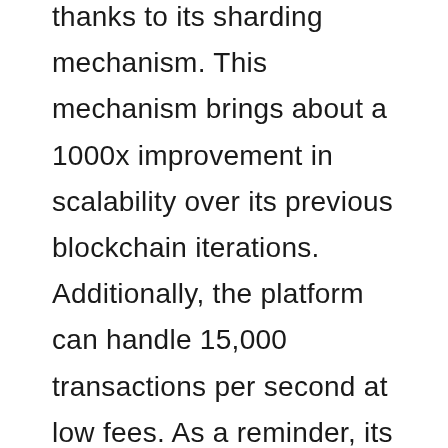thanks to its sharding mechanism. This mechanism brings about a 1000x improvement in scalability over its previous blockchain iterations. Additionally, the platform can handle 15,000 transactions per second at low fees. As a reminder, its main network was launched in July 2020.
The platform's native token is called EGLD. It is used for staking, rewards from validators and payment of